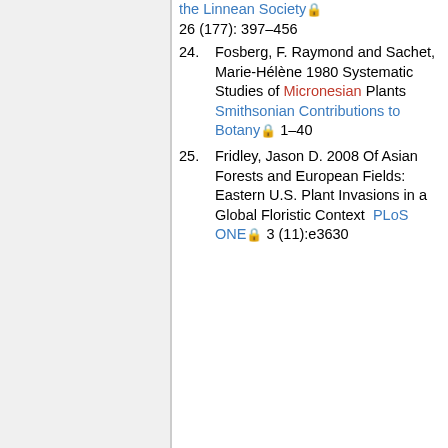(continuation) the Linnean Society 26 (177): 397–456
24. Fosberg, F. Raymond and Sachet, Marie-Hélène 1980 Systematic Studies of Micronesian Plants Smithsonian Contributions to Botany 1–40
25. Fridley, Jason D. 2008 Of Asian Forests and European Fields: Eastern U.S. Plant Invasions in a Global Floristic Context PLoS ONE 3 (11):e3630